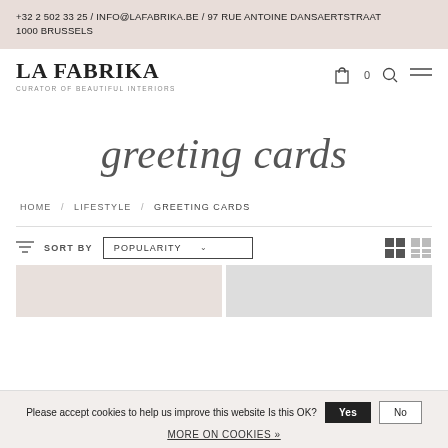+32 2 502 33 25 / INFO@LAFABRIKA.BE / 97 RUE ANTOINE DANSAERTSTRAAT 1000 BRUSSELS
[Figure (logo): LA FABRIKA logo with tagline CURATOR OF BEAUTIFUL INTERIORS, plus cart, search and menu icons]
greeting cards
HOME / LIFESTYLE / GREETING CARDS
SORT BY  POPULARITY
Please accept cookies to help us improve this website Is this OK?  Yes  No  MORE ON COOKIES »